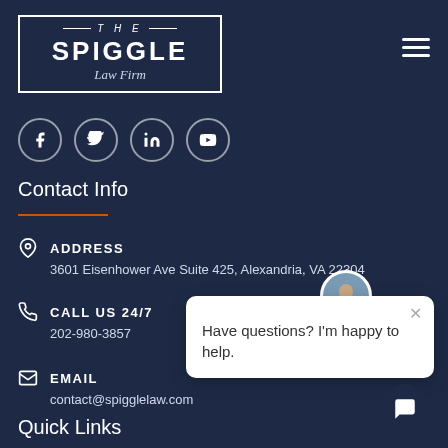[Figure (logo): The Spiggle Law Firm logo in a rectangular border]
[Figure (infographic): Social media icons: Facebook, Twitter, LinkedIn, YouTube in circular outlines]
Contact Info
ADDRESS
3601 Eisenhower Ave Suite 425, Alexandria, VA 22304
CALL US 24/7
202-980-3857
EMAIL
contact@spigglelaw.com
Quick Links
[Figure (infographic): Chat popup with avatar photo and text: Have questions? I'm happy to help.]